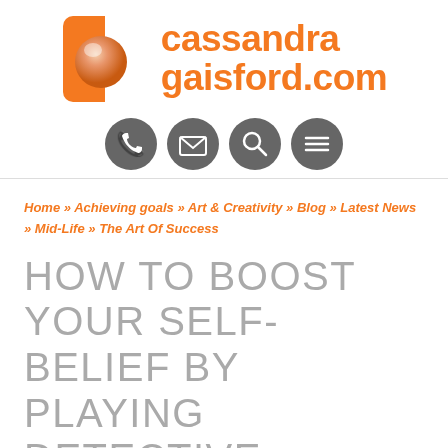[Figure (logo): Cassandra Gaisford logo with orange square icon containing a white circle/sphere and orange text 'cassandra gaisford.com']
[Figure (infographic): Four dark grey circular icon buttons: phone, email/envelope, search/magnifier, menu/hamburger]
Home » Achieving goals » Art & Creativity » Blog » Latest News » Mid-Life » The Art Of Success
HOW TO BOOST YOUR SELF-BELIEF BY PLAYING DETECTIVE